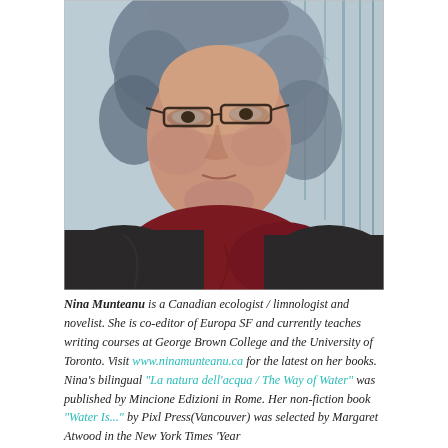[Figure (photo): Portrait photo of Nina Munteanu, a woman with curly grey-blue hair wearing glasses and a dark coat with a maroon scarf, set against an outdoor background with bare winter trees.]
Nina Munteanu is a Canadian ecologist / limnologist and novelist. She is co-editor of Europa SF and currently teaches writing courses at George Brown College and the University of Toronto. Visit www.ninamunteanu.ca for the latest on her books. Nina's bilingual "La natura dell'acqua / The Way of Water" was published by Mincione Edizioni in Rome. Her non-fiction book "Water Is..." by Pixl Press(Vancouver) was selected by Margaret Atwood in the New York Times 'Year